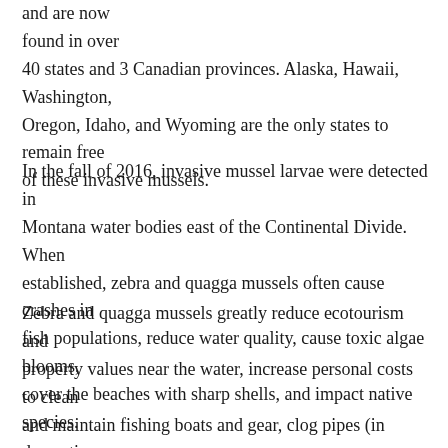and are now found in over 40 states and 3 Canadian provinces. Alaska, Hawaii, Washington, Oregon, Idaho, and Wyoming are the only states to remain free of these invasive mussels.
In the fall of 2016, invasive mussel larvae were detected in Montana water bodies east of the Continental Divide. When established, zebra and quagga mussels often cause crashes in fish populations, reduce water quality, cause toxic algae blooms, cover the beaches with sharp shells, and impact native species.
Zebra and quagga mussels greatly reduce ecotourism and property values near the water, increase personal costs to clean and maintain fishing boats and gear, clog pipes (in domestic, municipal, agricultural, and hydroelectric facilities), as well as